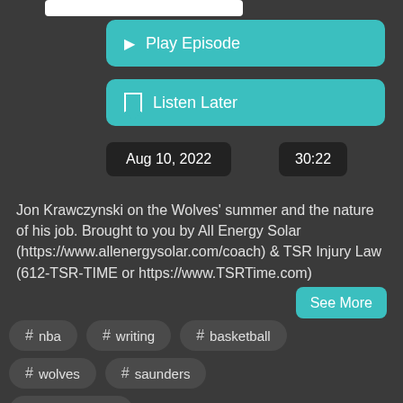[Figure (screenshot): White bar at top representing a UI element or title bar]
Play Episode
Listen Later
Aug 10, 2022
30:22
Jon Krawczynski on the Wolves' summer and the nature of his job. Brought to you by All Energy Solar (https://www.allenergysolar.com/coach) & TSR Injury Law (612-TSR-TIME or https://www.TSRTime.com)
See More
# nba
# writing
# basketball
# wolves
# saunders
# timberwolves